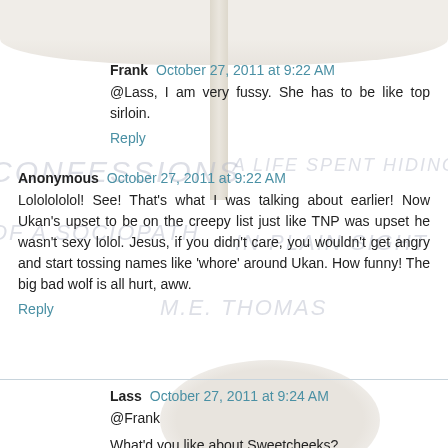Frank  October 27, 2011 at 9:22 AM
@Lass, I am very fussy. She has to be like top sirloin.
Reply
Anonymous  October 27, 2011 at 9:22 AM
Lololololol! See! That's what I was talking about earlier! Now Ukan's upset to be on the creepy list just like TNP was upset he wasn't sexy lolol. Jesus, if you didn't care, you wouldn't get angry and start tossing names like 'whore' around Ukan. How funny! The big bad wolf is all hurt, aww.
Reply
Lass  October 27, 2011 at 9:24 AM
@Frank
What'd you like about Sweetcheeks?